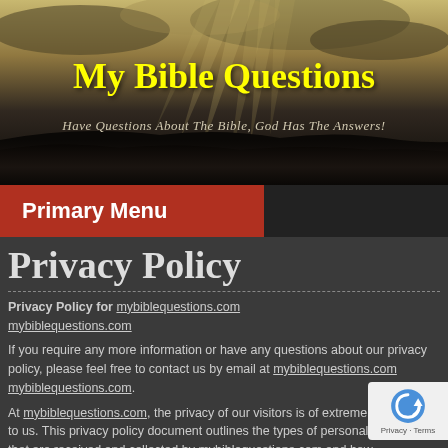[Figure (photo): Dramatic sky with sunbeams breaking through storm clouds over dark landscape silhouette, serving as website header background]
My Bible Questions
Have Questions About The Bible, God Has The Answers!
Primary Menu
Privacy Policy
Privacy Policy for mybiblequestions.com mybiblequestions.com
If you require any more information or have any questions about our privacy policy, please feel free to contact us by email at mybiblequestions.com mybiblequestions.com.
At mybiblequestions.com, the privacy of our visitors is of extreme importance to us. This privacy policy document outlines the types of personal information that are received and collected by mybiblequestions.com and how
Log Files
Like many other Web sites, mybiblequestions.com makes use of log files